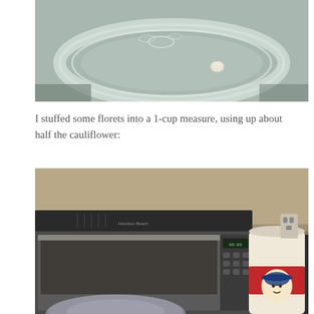[Figure (photo): Close-up photo of a glass microwave turntable plate with water drops and a small white garlic clove in the center, sitting on a gray textured surface]
I stuffed some florets into a 1-cup measure, using up about half the cauliflower:
[Figure (photo): Photo of a toaster oven on a kitchen counter with a round pan in front of it and an Quaker Oats canister to the right]